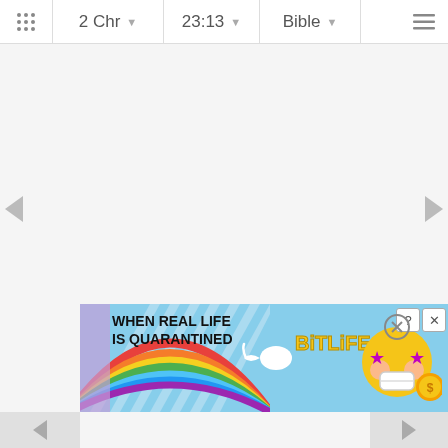2 Chr  23:13  Bible
[Figure (screenshot): Bible app screenshot showing navigation bar with 2 Chr, 23:13, Bible dropdowns and blank content area with left/right navigation arrows]
[Figure (screenshot): BitLife advertisement banner showing rainbow background, text 'WHEN REAL LIFE IS QUARANTINED', BitLife logo with emoji characters, and close button]